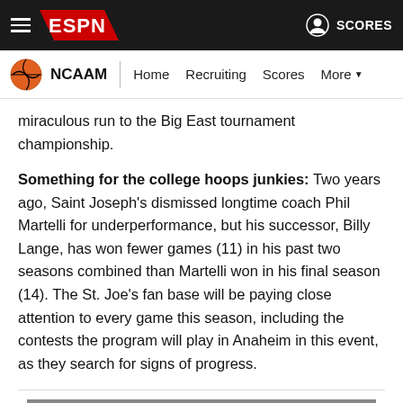ESPN - NCAAM | Home | Recruiting | Scores | More
miraculous run to the Big East tournament championship.
Something for the college hoops junkies: Two years ago, Saint Joseph's dismissed longtime coach Phil Martelli for underperformance, but his successor, Billy Lange, has won fewer games (11) in his past two seasons combined than Martelli won in his final season (14). The St. Joe's fan base will be paying close attention to every game this season, including the contests the program will play in Anaheim in this event, as they search for signs of progress.
[Figure (photo): Gray placeholder image at bottom of article]